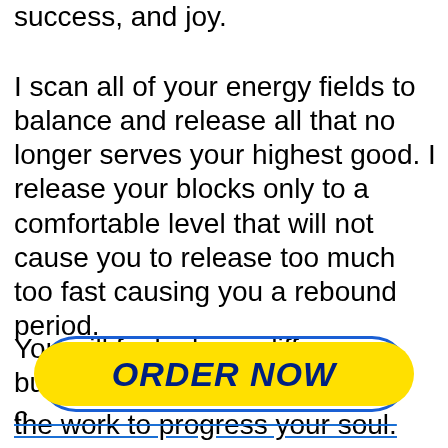success, and joy.
I scan all of your energy fields to balance and release all that no longer serves your highest good. I release your blocks only to a comfortable level that will not cause you to release too much too fast causing you a rebound period.
You will feel a huge difference, but this gives your mind a c
[Figure (other): Yellow ORDER NOW button with blue border ring overlay]
the work to progress your soul. I read into energy of past lives you may still have in your